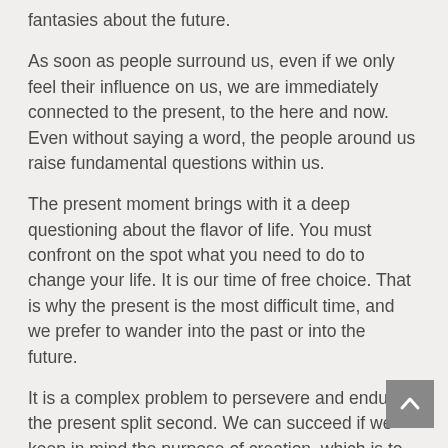fantasies about the future.
As soon as people surround us, even if we only feel their influence on us, we are immediately connected to the present, to the here and now. Even without saying a word, the people around us raise fundamental questions within us.
The present moment brings with it a deep questioning about the flavor of life. You must confront on the spot what you need to do to change your life. It is our time of free choice. That is why the present is the most difficult time, and we prefer to wander into the past or into the future.
It is a complex problem to persevere and endure the present split second. We can succeed if we keep in mind the purpose of creation, which is to discover and hold on to the giver of life. Discover the Creator, the supreme power of nature, and absorb His good and beneficent qualities.
The present is renewed every moment. Therefore, we need an environment that guides us properly, that helps us sharpen the essential questions of life, and not waste a